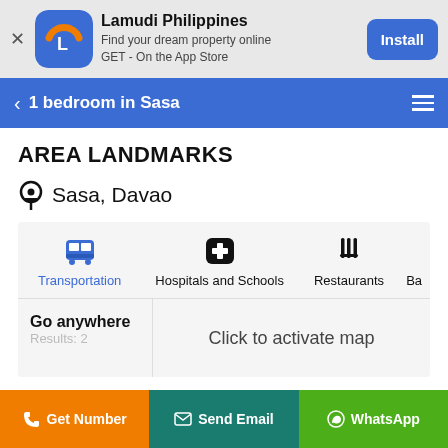[Figure (screenshot): Lamudi Philippines app banner with blue icon showing letter L with orange arc, app name, description, and Install button]
1 bedroom in Sasa
AREA LANDMARKS
Sasa, Davao
[Figure (infographic): Category tabs: Transportation (blue bus icon, active), Hospitals and Schools (cross icon), Restaurants (utensils icon), Ba... (partially visible)]
Go anywhere
Results: 2
Click to activate map
Get Number  Send Email  WhatsApp